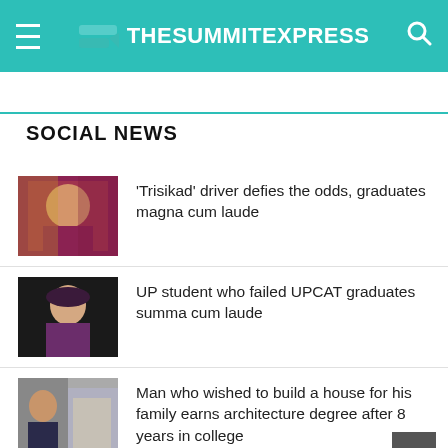TheSummitExpress
SOCIAL NEWS
[Figure (photo): Person in graduation attire with colorful robes]
'Trisikad' driver defies the odds, graduates magna cum laude
[Figure (photo): Young woman in graduation attire posing with fists raised]
UP student who failed UPCAT graduates summa cum laude
[Figure (photo): Man in graduation gown near a building construction site]
Man who wished to build a house for his family earns architecture degree after 8 years in college
[Figure (photo): Partial view of person in graduation cap]
41-year-old chicharon vendor earns education